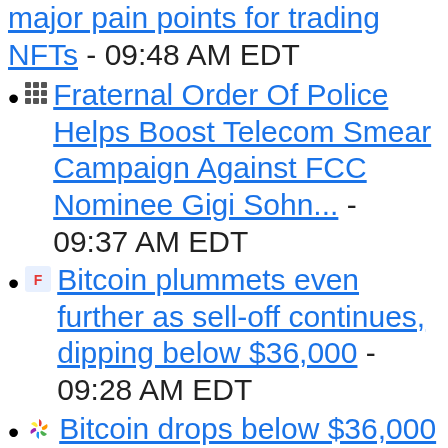major pain points for trading NFTs - 09:48 AM EDT
Fraternal Order Of Police Helps Boost Telecom Smear Campaign Against FCC Nominee Gigi Sohn... - 09:37 AM EDT
Bitcoin plummets even further as sell-off continues, dipping below $36,000 - 09:28 AM EDT
Bitcoin drops below $36,000 amid broader market sell-off - 09:08 AM EDT
Presentation to unpack Cryptocurrency to the masses set for Saturday - 09:08 AM EDT